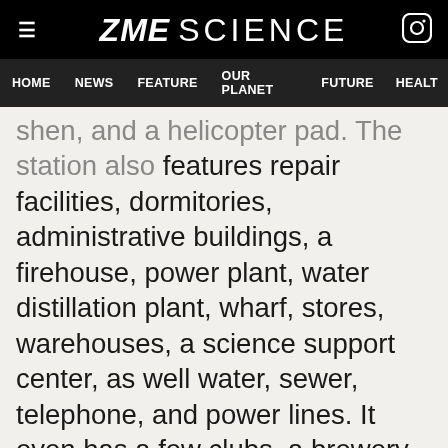ZME SCIENCE — HOME NEWS FEATURE OUR PLANET FUTURE HEALTH
shen, and a helicopter pad. The station also features repair facilities, dormitories, administrative buildings, a firehouse, power plant, water distillation plant, wharf, stores, warehouses, a science support center, as well water, sewer, telephone, and power lines. It even has a few clubs, a brewery and a Burger King. Some of the specialties you can enjoy if you reach McMurdo include penguin-shaped nuggets and, while the clubs aren't probably what you'd expect on the mainland, you can have a hip coffee or a few drinks (either imported or from the local brewery). The station also hosts tourists sometimes.